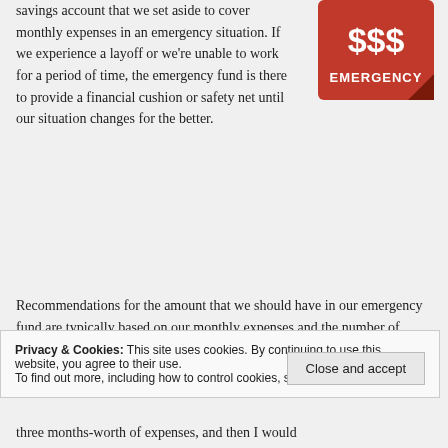savings account that we set aside to cover monthly expenses in an emergency situation. If we experience a layoff or we're unable to work for a period of time, the emergency fund is there to provide a financial cushion or safety net until our situation changes for the better.
[Figure (illustration): Red emergency fund badge with '$$$' text and 'EMERGENCY' label below]
Recommendations for the amount that we should have in our emergency fund are typically based on our monthly expenses and the number of months that we might be without income. Some advisors
Privacy & Cookies: This site uses cookies. By continuing to use this website, you agree to their use.
To find out more, including how to control cookies, see here: Cookie Policy
Close and accept
three months-worth of expenses, and then I would